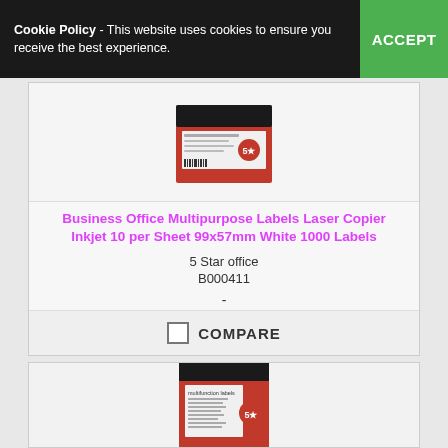Cookie Policy - This website uses cookies to ensure you receive the best experience.  ACCEPT
[Figure (photo): Product box of 5 Star office multipurpose labels, red and black packaging]
Business Office Multipurpose Labels Laser Copier Inkjet 10 per Sheet 99x57mm White 1000 Labels
5 Star office
B000411
-
COMPARE
[Figure (photo): Partial view of a second product box, red packaging labeled multifunction labels with 5 star logo]